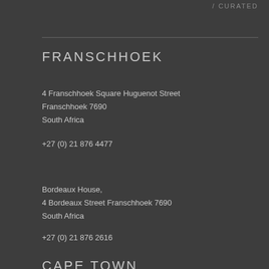/ CURATED
FRANSCHHOEK
4 Franschhoek Square Huguenot Street
Franschhoek 7690
South Africa
+27 (0) 21 876 4477
Bordeaux House,
4 Bordeaux Street Franschhoek 7690
South Africa
+27 (0) 21 876 2616
CAPE TOWN